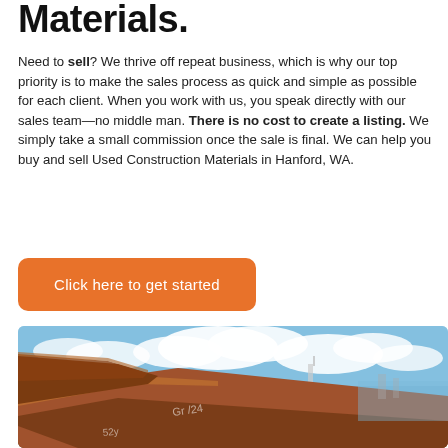Materials.
Need to sell? We thrive off repeat business, which is why our top priority is to make the sales process as quick and simple as possible for each client. When you work with us, you speak directly with our sales team—no middle man. There is no cost to create a listing. We simply take a small commission once the sale is final. We can help you buy and sell Used Construction Materials in Hanford, WA.
Click here to get started
[Figure (photo): Photo of rusted steel construction materials (beams/plates) stacked outdoors against a blue sky with white clouds]